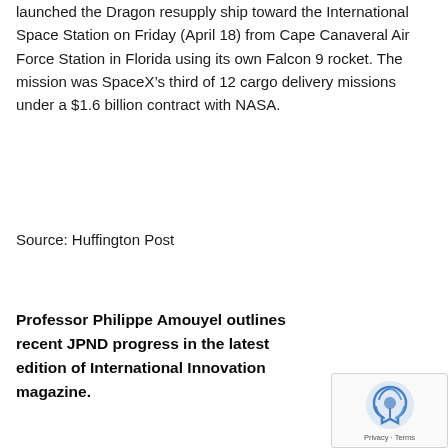launched the Dragon resupply ship toward the International Space Station on Friday (April 18) from Cape Canaveral Air Force Station in Florida using its own Falcon 9 rocket. The mission was SpaceX’s third of 12 cargo delivery missions under a $1.6 billion contract with NASA.
Source: Huffington Post
Professor Philippe Amouyel outlines recent JPND progress in the latest edition of International Innovation magazine.